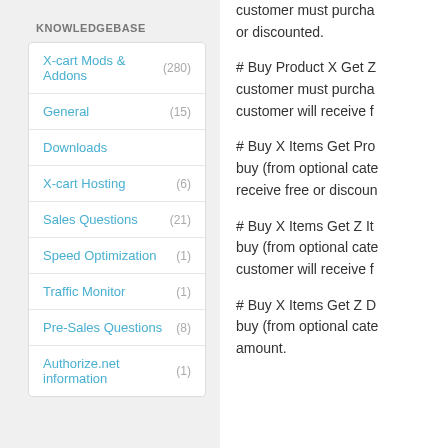KNOWLEDGEBASE
X-cart Mods & Addons (280)
General (15)
Downloads
X-cart Hosting (6)
Sales Questions (21)
Speed Optimization (1)
Traffic Monitor (1)
Pre-Sales Questions (8)
Authorize.net information (1)
customer must purcha... or discounted.
# Buy Product X Get Z customer must purcha... customer will receive f...
# Buy X Items Get Pro... buy (from optional cate... receive free or discoun...
# Buy X Items Get Z It... buy (from optional cate... customer will receive f...
# Buy X Items Get Z D... buy (from optional cate... amount.